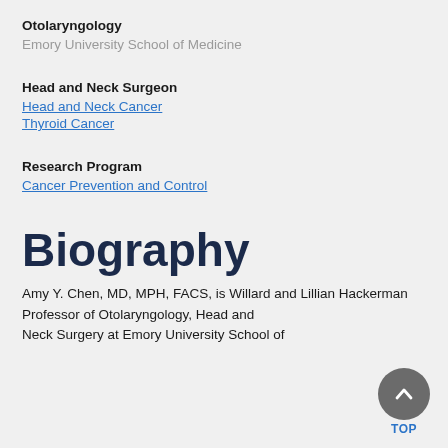Otolaryngology
Emory University School of Medicine
Head and Neck Surgeon
Head and Neck Cancer
Thyroid Cancer
Research Program
Cancer Prevention and Control
Biography
Amy Y. Chen, MD, MPH, FACS, is Willard and Lillian Hackerman Professor of Otolaryngology, Head and Neck Surgery at Emory University School of